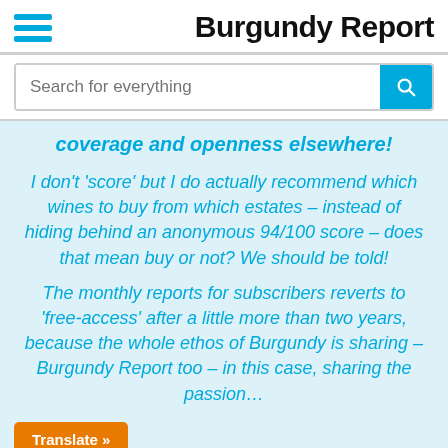Burgundy Report
Search for everything
coverage and openness elsewhere!
I don't 'score' but I do actually recommend which wines to buy from which estates – instead of hiding behind an anonymous 94/100 score – does that mean buy or not? We should be told!
The monthly reports for subscribers reverts to 'free-access' after a little more than two years, because the whole ethos of Burgundy is sharing – Burgundy Report too – in this case, sharing the passion…
Translate »